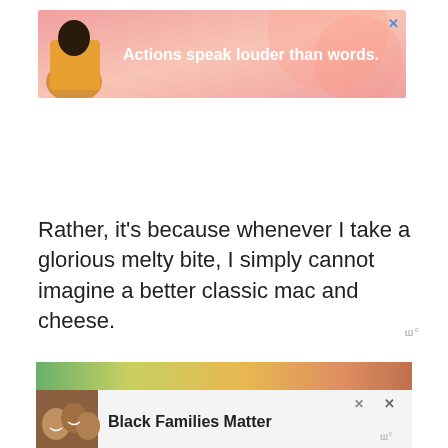[Figure (other): Advertisement banner with pink gradient background, illustrated person in yellow jacket, and text 'Actions speak louder than words.' with a close button (X) in top right corner.]
Rather, it’s because whenever I take a glorious melty bite, I simply cannot imagine a better classic mac and cheese.
[Figure (other): Advertisement banner with blurred colorful background strip at top and photo of smiling family below, with text 'Black Families Matter' and close/watermark icons.]